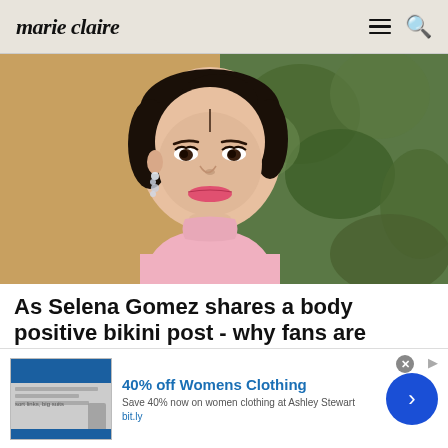marie claire
[Figure (photo): Close-up portrait of Selena Gomez wearing a pink turtleneck, with diamond drop earrings, hair pulled back, smiling, with green foliage in background]
As Selena Gomez shares a body positive bikini post - why fans are divided
[Figure (screenshot): Advertisement banner: '40% off Womens Clothing' - Save 40% now on women clothing at Ashley Stewart - bit.ly - with blue arrow button on right]